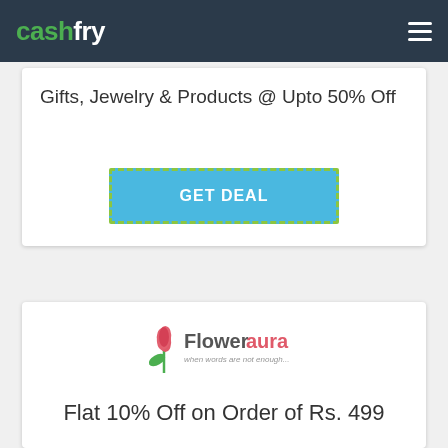cashfry
Gifts, Jewelry & Products @ Upto 50% Off
GET DEAL
[Figure (logo): FlowerAura logo — a stylized red tulip with green leaf next to the text 'Floweraura' and tagline 'when words are not enough...']
Flat 10% Off on Order of Rs. 499